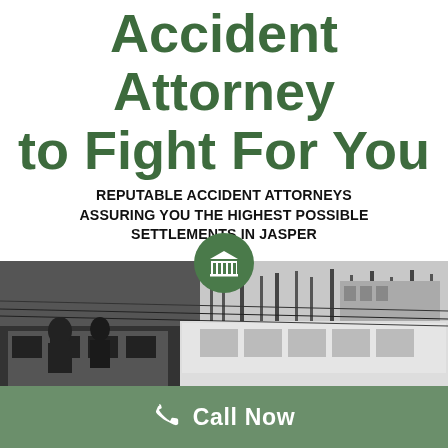Trust Our Jasper Accident Attorney to Fight For You
REPUTABLE ACCIDENT ATTORNEYS ASSURING YOU THE HIGHEST POSSIBLE SETTLEMENTS IN JASPER
[Figure (photo): Bus accident scene with two buses collided, black and white photo, winter scene with bare trees. Green courthouse/law icon circle overlaid at top center.]
Call Now